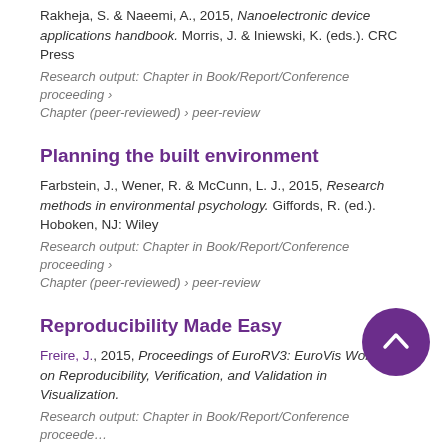Rakheja, S. & Naeemi, A., 2015, Nanoelectronic device applications handbook. Morris, J. & Iniewski, K. (eds.). CRC Press
Research output: Chapter in Book/Report/Conference proceeding › Chapter (peer-reviewed) › peer-review
Planning the built environment
Farbstein, J., Wener, R. & McCunn, L. J., 2015, Research methods in environmental psychology. Giffords, R. (ed.). Hoboken, NJ: Wiley
Research output: Chapter in Book/Report/Conference proceeding › Chapter (peer-reviewed) › peer-review
Reproducibility Made Easy
Freire, J., 2015, Proceedings of EuroRV3: EuroVis Workshop on Reproducibility, Verification, and Validation in Visualization.
Research output: Chapter in Book/Report/Conference proceeding › Chapter (peer-reviewed) › peer-review
Big Box Data: Outlier Detection in Box Repos of Dis...